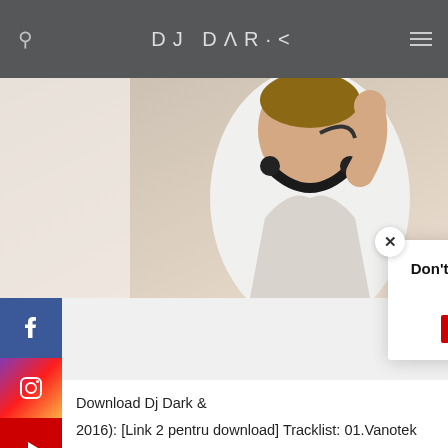DJ DARK
[Figure (photo): DJ wearing headphones around neck, smiling, dressed in white t-shirt]
[Figure (screenshot): Popup overlay with close button (x), text 'Don't forget to follow me on YouTube! 😁', and YouTube subscribe button showing 419K subscribers]
Download Dj Dark & 2016): [Link 2 pentru download] Tracklist: 01.Vanotek feat.Minelli – In Dormitor (Dj Dark & MD Dj Remix) – FREE DOWNLOAD 02.Ariana Grande & Rocket Fun & DKRAUS – Side To Side (Paul.B & Manu Birsan Remake)